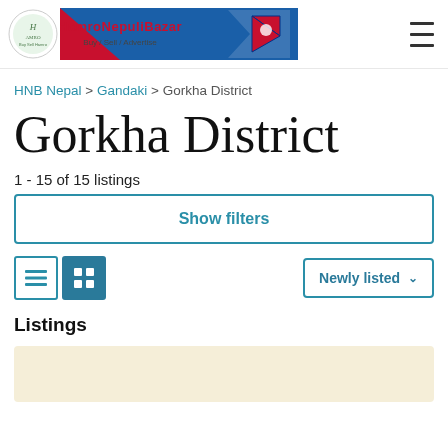HamroNepuliBazar — Buy / Sell / Advertise header banner
HNB Nepal > Gandaki > Gorkha District
Gorkha District
1 - 15 of 15 listings
Show filters
Newly listed
Listings